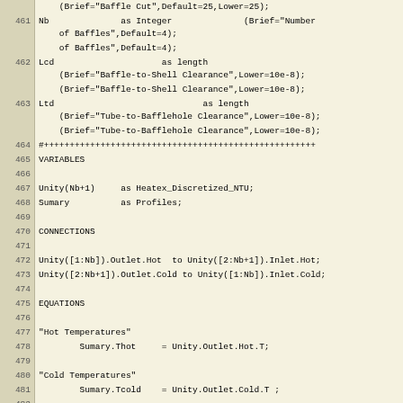Code listing lines 461-489 showing variable declarations, connections, and equations for a heat exchanger model in a modeling language.